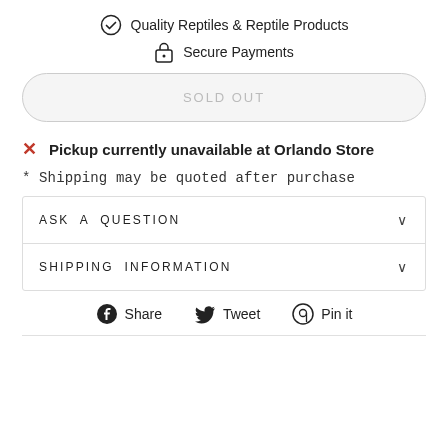Quality Reptiles & Reptile Products
Secure Payments
SOLD OUT
✗  Pickup currently unavailable at Orlando Store
* Shipping may be quoted after purchase
ASK A QUESTION
SHIPPING INFORMATION
Share  Tweet  Pin it